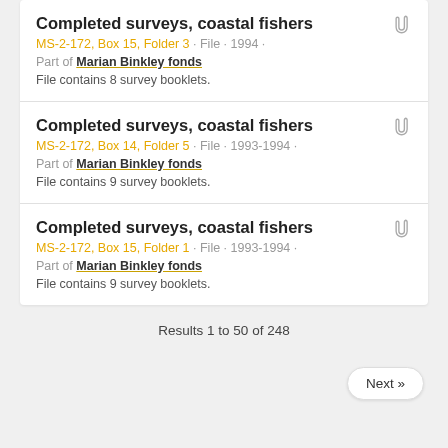Completed surveys, coastal fishers
MS-2-172, Box 15, Folder 3 · File · 1994 ·
Part of Marian Binkley fonds
File contains 8 survey booklets.
Completed surveys, coastal fishers
MS-2-172, Box 14, Folder 5 · File · 1993-1994 ·
Part of Marian Binkley fonds
File contains 9 survey booklets.
Completed surveys, coastal fishers
MS-2-172, Box 15, Folder 1 · File · 1993-1994 ·
Part of Marian Binkley fonds
File contains 9 survey booklets.
Results 1 to 50 of 248